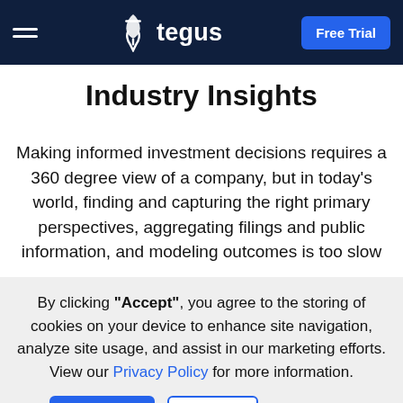tegus — Free Trial (navigation bar)
Industry Insights
Making informed investment decisions requires a 360 degree view of a company, but in today's world, finding and capturing the right primary perspectives, aggregating filings and public information, and modeling outcomes is too slow
By clicking "Accept", you agree to the storing of cookies on your device to enhance site navigation, analyze site usage, and assist in our marketing efforts. View our Privacy Policy for more information.